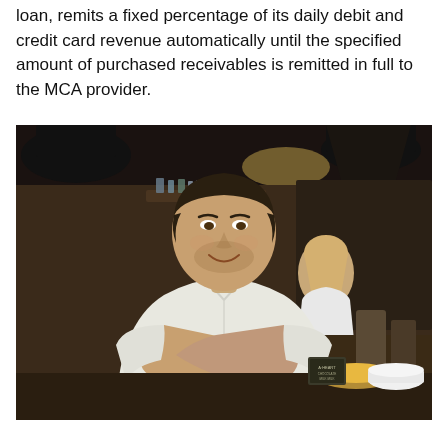loan, remits a fixed percentage of its daily debit and credit card revenue automatically until the specified amount of purchased receivables is remitted in full to the MCA provider.
[Figure (photo): A smiling man in a white shirt standing with arms crossed in a cafe or restaurant setting. A woman in white is visible working behind a counter in the background, with pastries and desserts on the counter.]